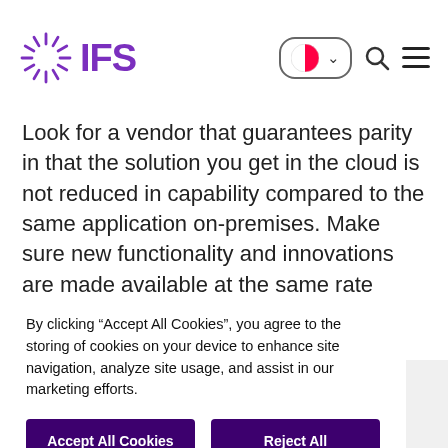IFS
Look for a vendor that guarantees parity in that the solution you get in the cloud is not reduced in capability compared to the same application on-premises. Make sure new functionality and innovations are made available at the same rate regardless of where you choose to deploy the
By clicking “Accept All Cookies”, you agree to the storing of cookies on your device to enhance site navigation, analyze site usage, and assist in our marketing efforts.
Accept All Cookies
Reject All
Cookies Settings
How to evaluate and choose ERP